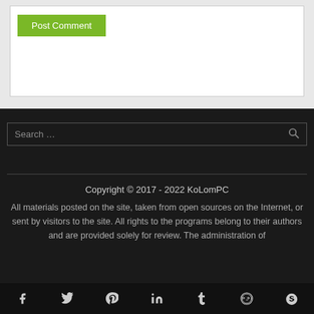Post Comment
Search …
Copyright © 2017 - 2022 KoLomPC
All materials posted on the site, taken from open sources on the Internet, or sent by visitors to the site. All rights to the programs belong to their authors and are provided solely for review. The administration of
[Figure (other): Social media icon bar with Facebook, Twitter, Pinterest, LinkedIn, Tumblr, Reddit, Skype icons]